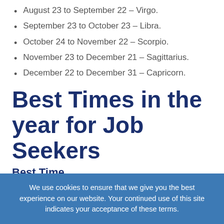August 23 to September 22 – Virgo.
September 23 to October 23 – Libra.
October 24 to November 22 – Scorpio.
November 23 to December 21 – Sagittarius.
December 22 to December 31 – Capricorn.
Best Times in the year for Job Seekers
Best Time
The best time each year to start a career search is from December 22nd to January 19th when the Sun is in Capricorn. It plays to the 'New Year – new job' movement which surges at the start of every year as companies look for new people and recruiters post ads and you begin
We use cookies to ensure that we give you the best experience on our website. Your continued use of this site indicates your acceptance of these terms.